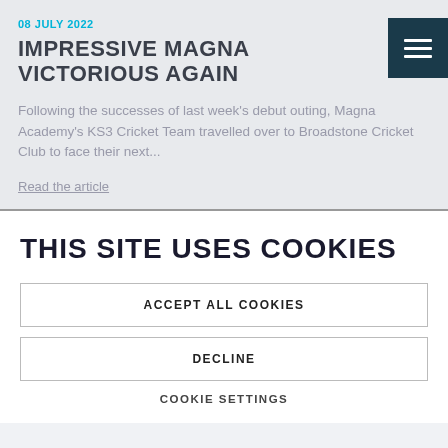08 JULY 2022
IMPRESSIVE MAGNA VICTORIOUS AGAIN
Following the successes of last week's debut outing, Magna Academy's KS3 Cricket Team travelled over to Broadstone Cricket Club to face their next...
Read the article
THIS SITE USES COOKIES
ACCEPT ALL COOKIES
DECLINE
COOKIE SETTINGS